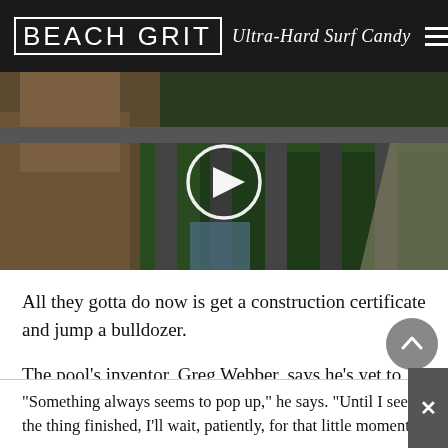BEACH GRIT Ultra-Hard Surf Candy
[Figure (photo): Aerial video thumbnail of a tall stone viaduct bridge over a forested gorge with a river below, showing a play button overlay circle in the center.]
All they gotta do now is get a construction certificate and jump a bulldozer.
The pool's inventor, Greg Webber, says he's yet to feel any throb of excitement despite his debut pool inching closer.
“Something always seems to pop up,” he says. “Until I see the thing finished, I’ll wait, patiently, for that little moment